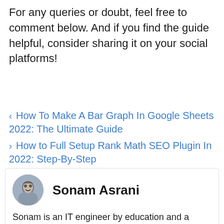For any queries or doubt, feel free to comment below. And if you find the guide helpful, consider sharing it on your social platforms!
< How To Make A Bar Graph In Google Sheets 2022: The Ultimate Guide
> How to Full Setup Rank Math SEO Plugin In 2022: Step-By-Step
Sonam Asrani
Sonam is an IT engineer by education and a passionate freelance writer/blogger by profession. She is a tech enthusiast and loves to read